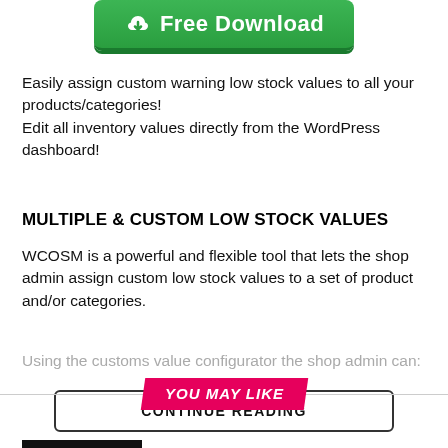[Figure (other): Green 'Free Download' button with cloud/download icon]
Easily assign custom warning low stock values to all your products/categories!
Edit all inventory values directly from the WordPress dashboard!
MULTIPLE & CUSTOM LOW STOCK VALUES
WCOSM is a powerful and flexible tool that lets the shop admin assign custom low stock values to a set of product and/or categories.
Using the customs value configurator the shop admin can:
CONTINUE READING
YOU MAY LIKE